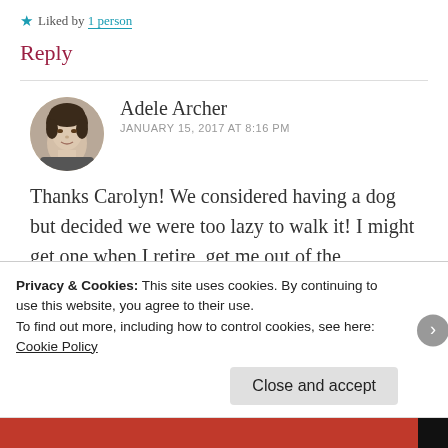★ Liked by 1 person
Reply
Adele Archer
JANUARY 15, 2017 AT 8:16 PM
[Figure (photo): Circular avatar photo of Adele Archer, a woman with short dark hair]
Thanks Carolyn! We considered having a dog but decided we were too lazy to walk it! I might get one when I retire, get me out of the
Privacy & Cookies: This site uses cookies. By continuing to use this website, you agree to their use.
To find out more, including how to control cookies, see here:
Cookie Policy
Close and accept